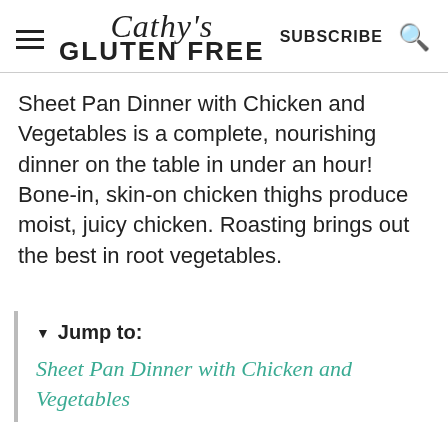Cathy's GLUTEN FREE | SUBSCRIBE
Sheet Pan Dinner with Chicken and Vegetables is a complete, nourishing dinner on the table in under an hour! Bone-in, skin-on chicken thighs produce moist, juicy chicken. Roasting brings out the best in root vegetables.
▼ Jump to:
Sheet Pan Dinner with Chicken and Vegetables